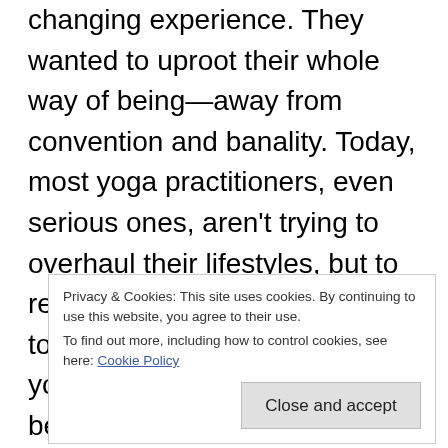changing experience. They wanted to uproot their whole way of being—away from convention and banality. Today, most yoga practitioners, even serious ones, aren't trying to overhaul their lifestyles, but to reduce stress, to tone the body, to still the mind. Mainstream yoga is more popular now because it's more approachable, less of a leap. Of course, true t...
Privacy & Cookies: This site uses cookies. By continuing to use this website, you agree to their use. To find out more, including how to control cookies, see here: Cookie Policy
Close and accept